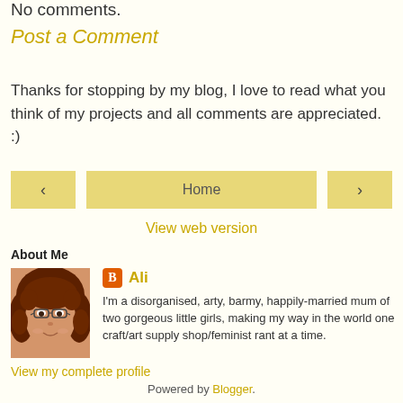No comments.
Post a Comment
Thanks for stopping by my blog, I love to read what you think of my projects and all comments are appreciated. :)
< Home > View web version
About Me
[Figure (photo): Profile photo of Ali - woman with red curly hair and glasses]
Ali
I'm a disorganised, arty, barmy, happily-married mum of two gorgeous little girls, making my way in the world one craft/art supply shop/feminist rant at a time.
View my complete profile
Powered by Blogger.